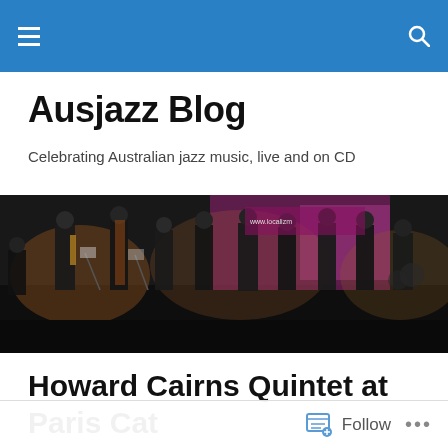Ausjazz Blog
Celebrating Australian jazz music, live and on CD
[Figure (photo): A jazz band performing on stage with multiple musicians including saxophone, bass, trumpet, and other instruments, with pink stage lighting and a banner in the background.]
Howard Cairns Quintet at Paris Cat
[Figure (photo): Partial view of a performance photo, showing warm orange/red tones.]
Follow ...